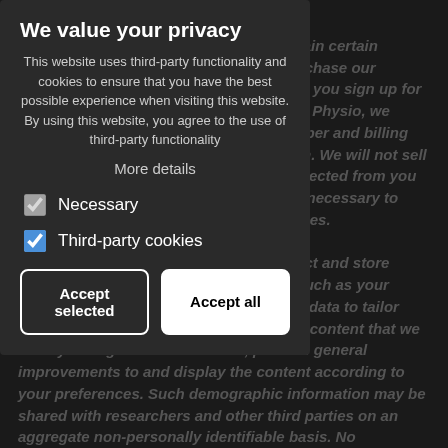Financial information: We collect and retain certain financial information from when you purchase our products or services. For example, when you sign up for any product or service through Bramhall Physio, we require you to provide a credit card number and billing address. We will process that application. We will not sell or disclose any financial information collected from you as disclosed in this Privacy Policy or as necessary to fulfil any order for our products or services. Demographic information: We may collect and store anonymous demographic information (such as your postcode, gender and age), and use this data to tailor your experience on our website, provide content that we think you might be interested in, perform general improvements to and display the content according to your preferences. Such demographic information may be shared with researchers and other third parties on an aggregate non-personally identifiable basis. No personally identifiable information will be linked to such aggregated demographic information that is shared with
We value your privacy
This website uses third-party functionality and cookies to ensure that you have the best possible experience when visiting this website. By using this website, you agree to the use of third-party functionality
More details
Necessary
Third-party cookies
Accept selected
Accept all